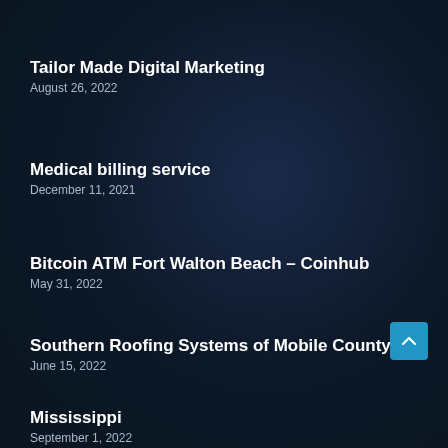Tailor Made Digital Marketing
August 26, 2022
Medical billing service
December 11, 2021
Bitcoin ATM Fort Walton Beach – Coinhub
May 31, 2022
Southern Roofing Systems of Mobile County
June 15, 2022
Mississippi
September 1, 2022